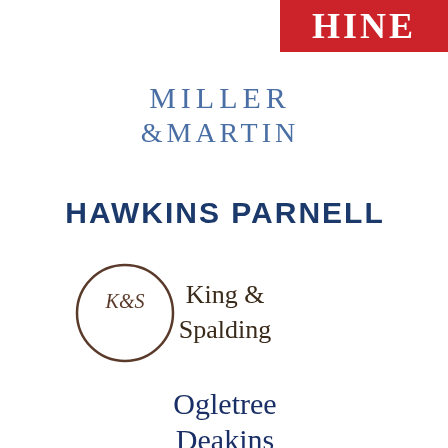[Figure (logo): Hine law firm logo — white serif text 'HINE' on a red rectangle background]
[Figure (logo): Miller & Martin law firm logo — blue-grey serif text with ampersand]
[Figure (logo): Hawkins Parnell law firm logo — bold dark blue sans-serif uppercase text]
[Figure (logo): King & Spalding law firm logo — circle monogram with K&S and serif text]
[Figure (logo): Ogletree Deakins law firm logo — dark blue serif text, partially visible]